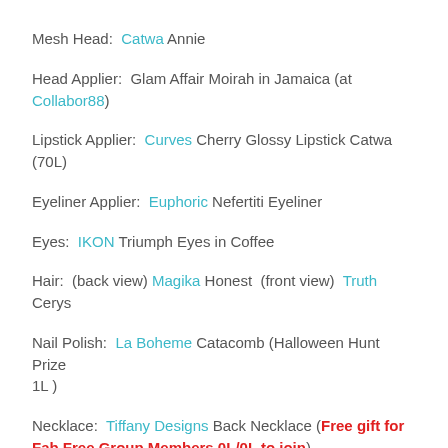Mesh Head:  Catwa Annie
Head Applier:  Glam Affair Moirah in Jamaica (at Collabor88)
Lipstick Applier:  Curves Cherry Glossy Lipstick Catwa (70L)
Eyeliner Applier:  Euphoric Nefertiti Eyeliner
Eyes:  IKON Triumph Eyes in Coffee
Hair:  (back view) Magika Honest  (front view)  Truth Cerys
Nail Polish:  La Boheme Catacomb (Halloween Hunt Prize 1L )
Necklace:  Tiffany Designs Back Necklace (Free gift for Fab Free Group Members 0L/0L to join)